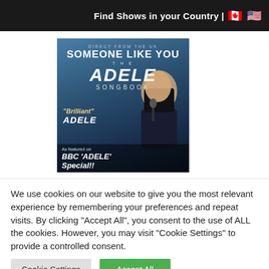Find Shows in your Country | 🇨🇦 🇺🇸
[Figure (photo): Promotional poster for 'Someone Like You – The Adele Songbook' show. Text reads: DIRECT FROM THE UK, SOMEONE LIKE YOU, THE ADELE SONGBOOK. Quote: 'Brilliant' ADELE. As featured on BBC 'ADELE' Special!! Background shows a performer singing into a microphone on a dark blue-lit stage.]
We use cookies on our website to give you the most relevant experience by remembering your preferences and repeat visits. By clicking "Accept All", you consent to the use of ALL the cookies. However, you may visit "Cookie Settings" to provide a controlled consent.
Cookie Settings
Accept All